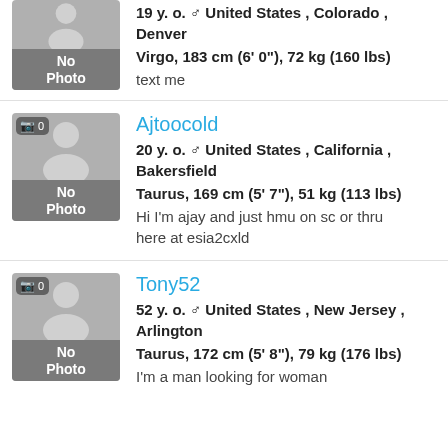[Figure (illustration): No Photo avatar placeholder (partially visible at top)]
19 y. o. ♂ United States , Colorado , Denver
Virgo, 183 cm (6' 0"), 72 kg (160 lbs)
text me
[Figure (illustration): No Photo avatar placeholder with camera icon badge showing 0]
Ajtoocold
20 y. o. ♂ United States , California , Bakersfield
Taurus, 169 cm (5' 7"), 51 kg (113 lbs)
Hi I'm ajay and just hmu on sc or thru here at esia2cxld
[Figure (illustration): No Photo avatar placeholder with camera icon badge showing 0]
Tony52
52 y. o. ♂ United States , New Jersey , Arlington
Taurus, 172 cm (5' 8"), 79 kg (176 lbs)
I'm a man looking for woman